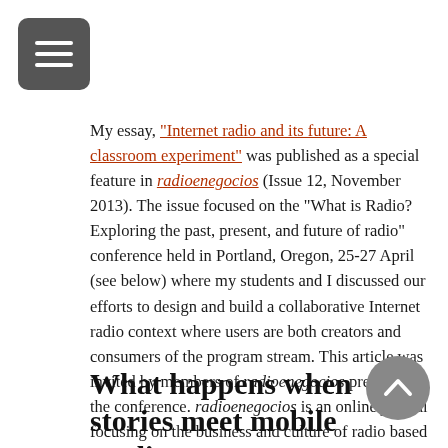[Figure (other): Hamburger menu button (three horizontal white lines on a dark gray rounded square)]
My essay, "Internet radio and its future: A classroom experiment" was published as a special feature in radioenegocios (Issue 12, November 2013). The issue focused on the "What is Radio? Exploring the past, present, and future of radio" conference held in Portland, Oregon, 25-27 April (see below) where my students and I discussed our efforts to design and build a collaborative Internet radio context where users are both creators and consumers of the program stream. This article was invited by members of radioenegocios present at the conference. radioenegocios is an online journal focusing on the business and culture of radio based in Brazil and published in Portuguese.
What happens when stories meet mobile media?
[Figure (other): Scroll-to-top button: gray circle with white upward chevron arrow]